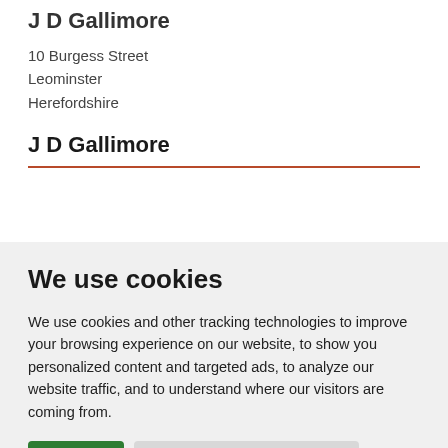J D Gallimore
10 Burgess Street
Leominster
Herefordshire
J D Gallimore
We use cookies
We use cookies and other tracking technologies to improve your browsing experience on our website, to show you personalized content and targeted ads, to analyze our website traffic, and to understand where our visitors are coming from.
I agree | Change my preferences